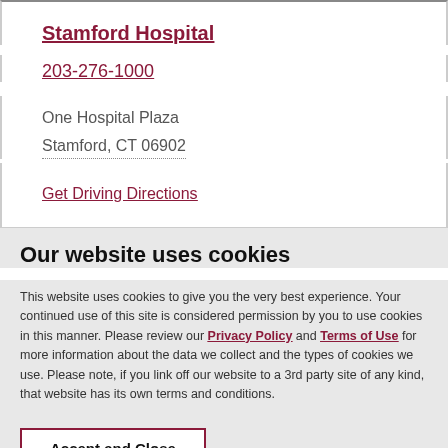Stamford Hospital
203-276-1000
One Hospital Plaza
Stamford, CT 06902
Get Driving Directions
Our website uses cookies
This website uses cookies to give you the very best experience. Your continued use of this site is considered permission by you to use cookies in this manner. Please review our Privacy Policy and Terms of Use for more information about the data we collect and the types of cookies we use. Please note, if you link off our website to a 3rd party site of any kind, that website has its own terms and conditions.
Accept and Close